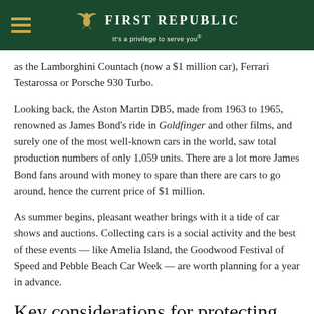First Republic — It's a privilege to serve you®
as the Lamborghini Countach (now a $1 million car), Ferrari Testarossa or Porsche 930 Turbo.
Looking back, the Aston Martin DB5, made from 1963 to 1965, renowned as James Bond's ride in Goldfinger and other films, and surely one of the most well-known cars in the world, saw total production numbers of only 1,059 units. There are a lot more James Bond fans around with money to spare than there are cars to go around, hence the current price of $1 million.
As summer begins, pleasant weather brings with it a tide of car shows and auctions. Collecting cars is a social activity and the best of these events — like Amelia Island, the Goodwood Festival of Speed and Pebble Beach Car Week — are worth planning for a year in advance.
Key considerations for protecting your